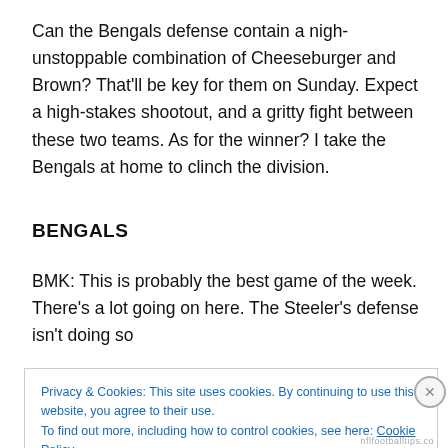Can the Bengals defense contain a nigh-unstoppable combination of Cheeseburger and Brown? That'll be key for them on Sunday. Expect a high-stakes shootout, and a gritty fight between these two teams. As for the winner? I take the Bengals at home to clinch the division.
BENGALS
BMK: This is probably the best game of the week. There's a lot going on here. The Steeler's defense isn't doing so
Privacy & Cookies: This site uses cookies. By continuing to use this website, you agree to their use.
To find out more, including how to control cookies, see here: Cookie Policy
Close and accept
nflfootballtips.co